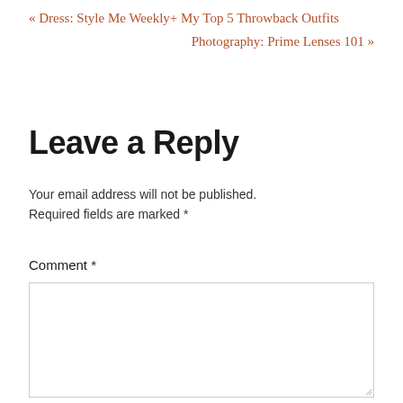« Dress: Style Me Weekly+ My Top 5 Throwback Outfits
Photography: Prime Lenses 101 »
Leave a Reply
Your email address will not be published. Required fields are marked *
Comment *